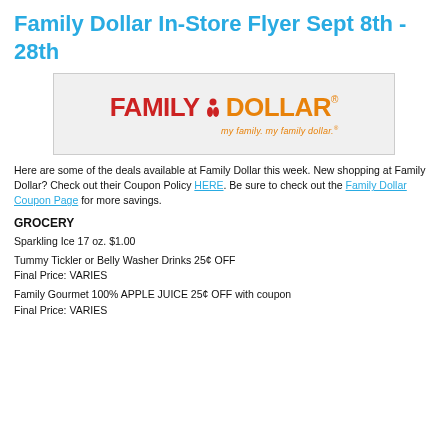Family Dollar In-Store Flyer Sept 8th - 28th
[Figure (logo): Family Dollar logo with red 'FAMILY' text, orange 'DOLLAR' text, family icon, and tagline 'my family. my family dollar.']
Here are some of the deals available at Family Dollar this week. New shopping at Family Dollar? Check out their Coupon Policy HERE. Be sure to check out the Family Dollar Coupon Page for more savings.
GROCERY
Sparkling Ice 17 oz. $1.00
Tummy Tickler or Belly Washer Drinks 25¢ OFF
Final Price: VARIES
Family Gourmet 100% APPLE JUICE 25¢ OFF with coupon
Final Price: VARIES